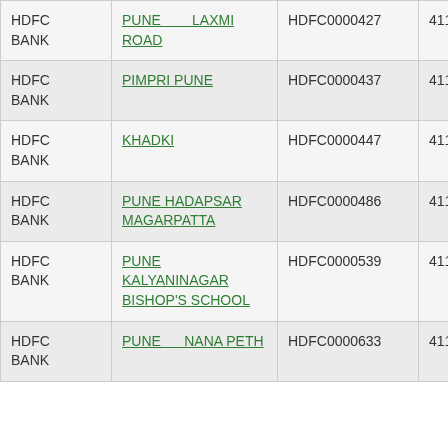| HDFC BANK | PUNE LAXMI ROAD | HDFC0000427 | 411240012 |
| HDFC BANK | PIMPRI PUNE | HDFC0000437 | 411240014 |
| HDFC BANK | KHADKI | HDFC0000447 | 411240013 |
| HDFC BANK | PUNE HADAPSAR MAGARPATTA | HDFC0000486 | 411240015 |
| HDFC BANK | PUNE KALYANINAGAR BISHOP'S SCHOOL | HDFC0000539 | 411240016 |
| HDFC BANK | PUNE NANA PETH | HDFC0000633 | 411240020 |